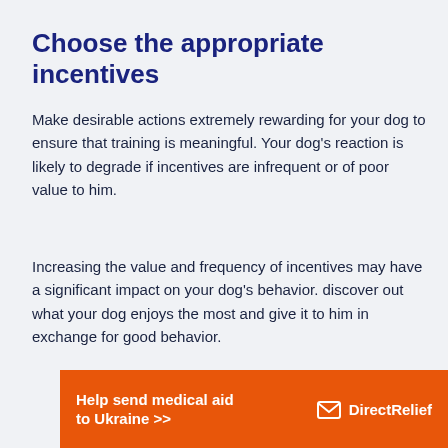Choose the appropriate incentives
Make desirable actions extremely rewarding for your dog to ensure that training is meaningful. Your dog's reaction is likely to degrade if incentives are infrequent or of poor value to him.
Increasing the value and frequency of incentives may have a significant impact on your dog's behavior. discover out what your dog enjoys the most and give it to him in exchange for good behavior.
[Figure (infographic): Orange banner advertisement: 'Help send medical aid to Ukraine >>' with DirectRelief logo on the right side.]